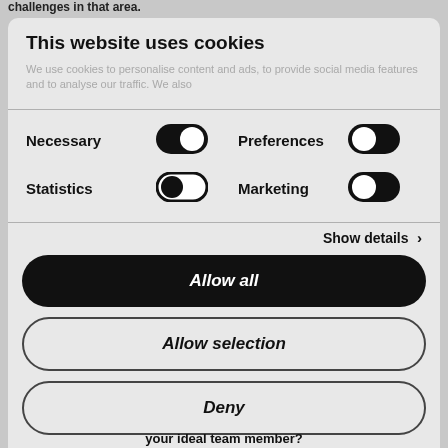challenges in that area.
This website uses cookies
We use cookies to personalise content and ads, to provide social media features and to analyse our traffic. We also
Necessary
Preferences
Statistics
Marketing
Show details ›
Allow all
Allow selection
Deny
Powered by Cookiebot by Usercentrics
your ideal team member?